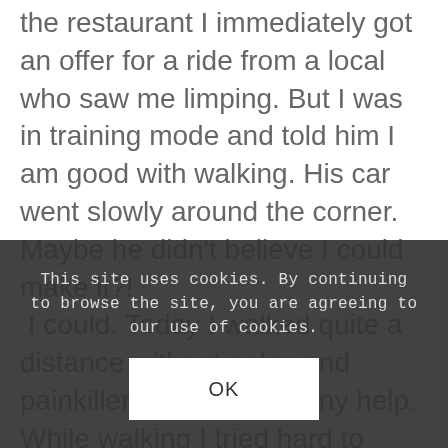the restaurant I immediately got an offer for a ride from a local who saw me limping. But I was in training mode and told him I am good with walking. His car went slowly around the corner. Maybe he didn't believe I could make it?!  I could. Today I walked quite a distance without poles and painkillers and without any help. While walking I tried hard to improve my style because I got a bit used to limping. At the next few days I plan to do that and I will do more training tomorrow. And of course I'll see Dan
This site uses cookies. By continuing to browse the site, you are agreeing to our use of cookies.
OK